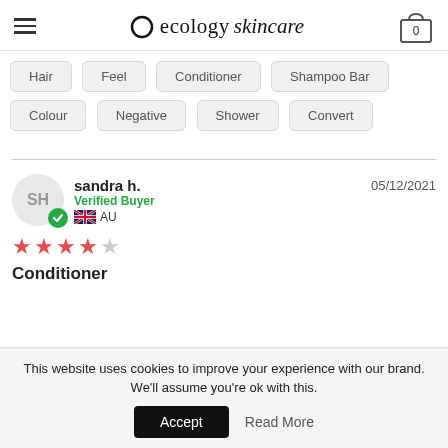ecology skincare — cart: 0
Hair
Feel
Conditioner
Shampoo Bar
Colour
Negative
Shower
Convert
sandra h.  Verified Buyer  AU  05/12/2021
★★★★☆
Conditioner
This website uses cookies to improve your experience with our brand. We'll assume you're ok with this.